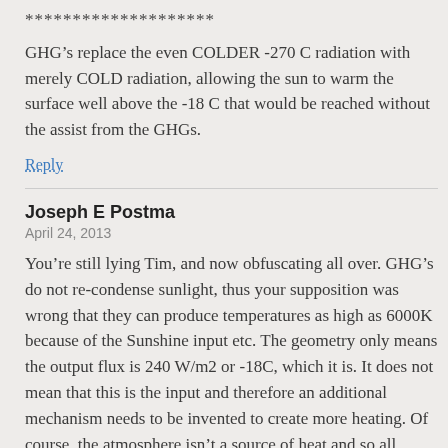********************
GHG’s replace the even COLDER -270 C radiation with merely COLD radiation, allowing the sun to warm the surface well above the -18 C that would be reached without the assist from the GHGs.
Reply
Joseph E Postma
April 24, 2013
You’re still lying Tim, and now obfuscating all over. GHG’s do not re-condense sunlight, thus your supposition was wrong that they can produce temperatures as high as 6000K because of the Sunshine input etc. The geometry only means the output flux is 240 W/m2 or -18C, which it is. It does not mean that this is the input and therefore an additional mechanism needs to be invented to create more heating. Of course, the atmosphere isn’t a source of heat and so all